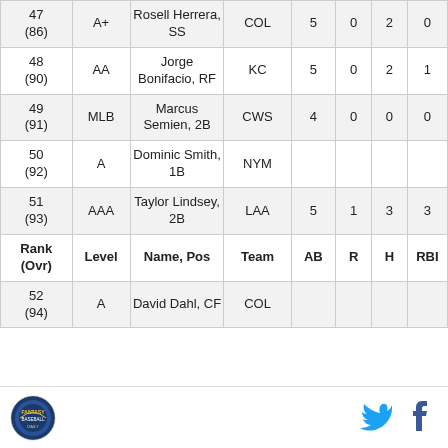| Rank (Ovr) | Level | Name, Pos | Team | AB | R | H | RBI |
| --- | --- | --- | --- | --- | --- | --- | --- |
| 47 (86) | A+ | Rosell Herrera, SS | COL | 5 | 0 | 2 | 0 |
| 48 (90) | AA | Jorge Bonifacio, RF | KC | 5 | 0 | 2 | 1 |
| 49 (91) | MLB | Marcus Semien, 2B | CWS | 4 | 0 | 0 | 0 |
| 50 (92) | A | Dominic Smith, 1B | NYM |  |  |  |  |
| 51 (93) | AAA | Taylor Lindsey, 2B | LAA | 5 | 1 | 3 | 3 |
| Rank (Ovr) | Level | Name, Pos | Team | AB | R | H | RBI |
| 52 (94) | A | David Dahl, CF | COL |  |  |  |  |
[Figure (logo): Sports league circular logo with blue and yellow design]
[Figure (logo): Twitter bird icon in blue]
[Figure (logo): Facebook f icon in dark blue]